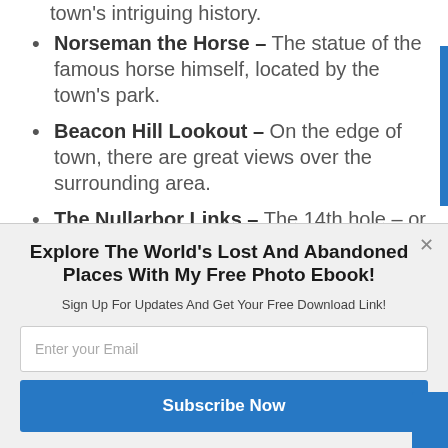town's intriguing history.
Norseman the Horse – The statue of the famous horse himself, located by the town's park.
Beacon Hill Lookout – On the edge of town, there are great views over the surrounding area.
The Nullarbor Links – The 14th hole – or the 2nd depending on which way you play! – of the world's
[Figure (screenshot): Powered by Sumo banner overlay]
Explore The World's Lost And Abandoned Places With My Free Photo Ebook!
Sign Up For Updates And Get Your Free Download Link!
Enter your Email
Subscribe Now